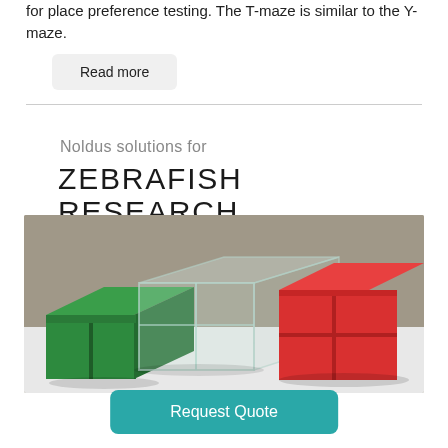for place preference testing. The T-maze is similar to the Y-maze.
Read more
Noldus solutions for
ZEBRAFISH RESEARCH
[Figure (photo): Photo of colorful T-maze apparatus with green, clear/transparent, and red acrylic compartments on a white table against a gray wall, used for zebrafish behavioral research.]
Request Quote